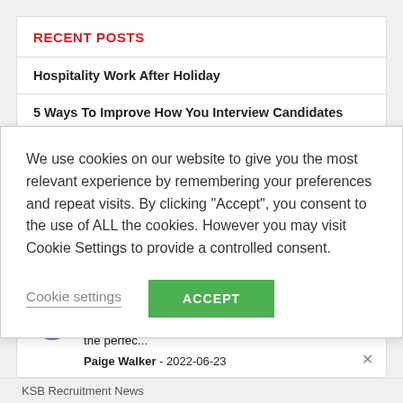RECENT POSTS
Hospitality Work After Holiday
5 Ways To Improve How You Interview Candidates
We use cookies on our website to give you the most relevant experience by remembering your preferences and repeat visits. By clicking “Accept”, you consent to the use of ALL the cookies. However you may visit Cookie Settings to provide a controlled consent.
Cookie settings   ACCEPT
Responsive and attentive to my personal career needs. Richard was amazing and helped place me in the perfec... Paige Walker - 2022-06-23
KSB Recruitment News